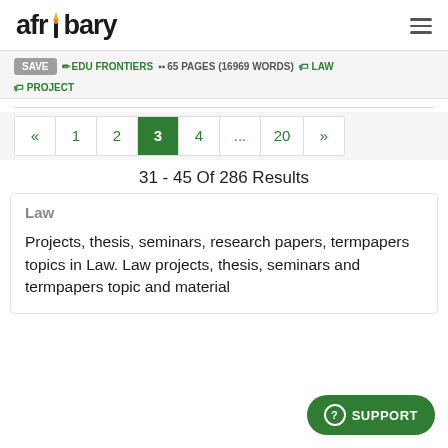afribary
SAVE  EDU FRONTIERS  65 PAGES (16969 WORDS)  LAW  PROJECT
« 1 2 3 4 ... 20 »
31 - 45 Of 286 Results
Law
Projects, thesis, seminars, research papers, termpapers topics in Law. Law projects, thesis, seminars and termpapers topic and material